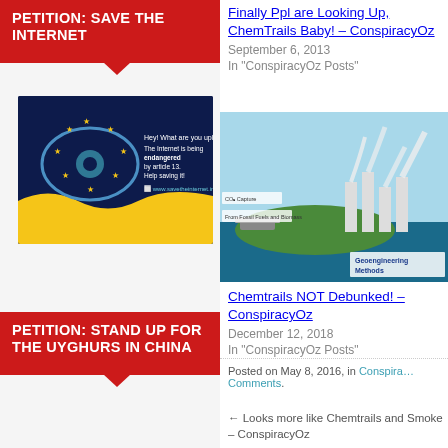PETITION: SAVE THE INTERNET
[Figure (illustration): Save the Internet graphic — dark blue background with EU stars eye motif, yellow wave at bottom, text 'Hey! What are you uploading? The Internet is being endangered by article 13. Help saving it! www.savetheinternet.info']
PETITION: STAND UP FOR THE UYGHURS IN CHINA
[Figure (illustration): Never Again Right Now campaign graphic — red line-art telescope/camera with Chinese flag, red and dark blue text 'NEVER AGAIN RIGHT NOW x']
Finally Ppl are Looking Up, ChemTrails Baby! – ConspiracyOz
September 6, 2013
In "ConspiracyOz Posts"
[Figure (illustration): Geoengineering Methods diagram — 3D isometric illustration of ocean-based geoengineering with ships, towers, CO2 capture labels, 'Geoengineering Methods' text]
Chemtrails NOT Debunked! – ConspiracyOz
December 12, 2018
In "ConspiracyOz Posts"
Posted on May 8, 2016, in Conspira… Comments.
← Looks more like Chemtrails and Smoke – ConspiracyOz